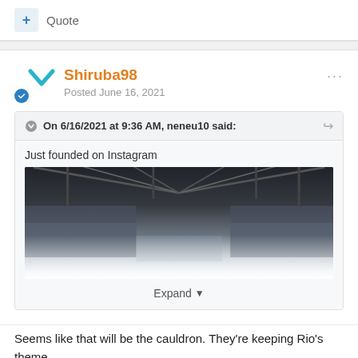+ Quote
Shiruba98
Posted June 16, 2021
On 6/16/2021 at 9:36 AM, neneu10 said:
Just founded on Instagram
[Figure (photo): Stadium interior photo showing seating stands and roof structure, fading to white at the bottom]
Expand
Seems like that will be the cauldron. They're keeping Rio's theme